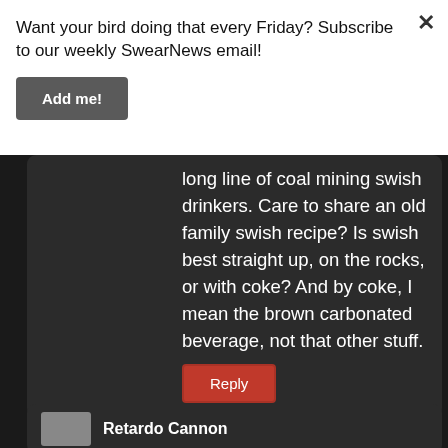Want your bird doing that every Friday? Subscribe to our weekly SwearNews email!
Add me!
long line of coal mining swish drinkers. Care to share an old family swish recipe? Is swish best straight up, on the rocks, or with coke? And by coke, I mean the brown carbonated beverage, not that other stuff.
Reply
Retardo Cannon